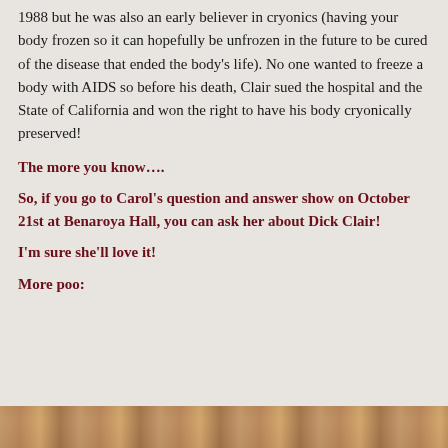1988 but he was also an early believer in cryonics (having your body frozen so it can hopefully be unfrozen in the future to be cured of the disease that ended the body's life). No one wanted to freeze a body with AIDS so before his death, Clair sued the hospital and the State of California and won the right to have his body cryonically preserved!
The more you know….
So, if you go to Carol's question and answer show on October 21st at Benaroya Hall, you can ask her about Dick Clair!
I'm sure she'll love it!
More poo:
[Figure (photo): Partial view of a person's face/hair at the bottom of the page]